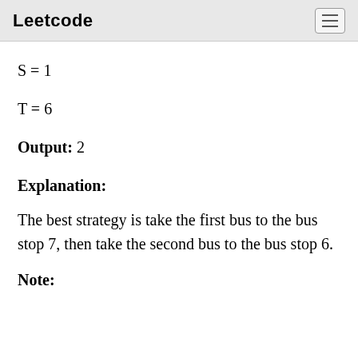Leetcode
S = 1
T = 6
Output: 2
Explanation:
The best strategy is take the first bus to the bus stop 7, then take the second bus to the bus stop 6.
Note: